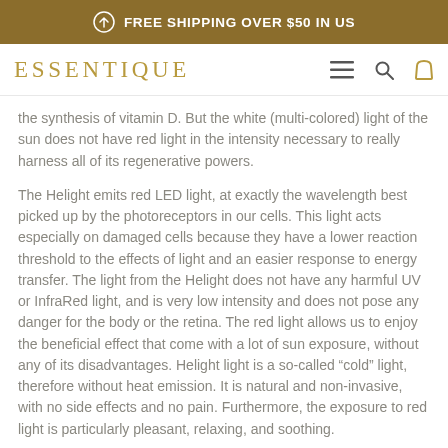FREE SHIPPING OVER $50 IN US
ESSENTIQUE
the synthesis of vitamin D. But the white (multi-colored) light of the sun does not have red light in the intensity necessary to really harness all of its regenerative powers.
The Helight emits red LED light, at exactly the wavelength best picked up by the photoreceptors in our cells. This light acts especially on damaged cells because they have a lower reaction threshold to the effects of light and an easier response to energy transfer. The light from the Helight does not have any harmful UV or InfraRed light, and is very low intensity and does not pose any danger for the body or the retina. The red light allows us to enjoy the beneficial effect that come with a lot of sun exposure, without any of its disadvantages. Helight light is a so-called “cold” light, therefore without heat emission. It is natural and non-invasive, with no side effects and no pain. Furthermore, the exposure to red light is particularly pleasant, relaxing, and soothing.